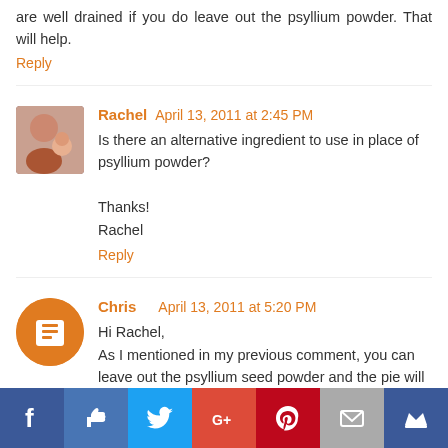are well drained if you do leave out the psyllium powder. That will help.
Reply
Rachel  April 13, 2011 at 2:45 PM
Is there an alternative ingredient to use in place of psyllium powder?

Thanks!
Rachel
Reply
Chris  April 13, 2011 at 5:20 PM
Hi Rachel,
As I mentioned in my previous comment, you can leave out the psyllium seed powder and the pie will still set due to the